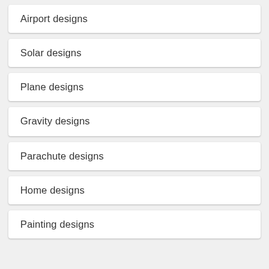Airport designs
Solar designs
Plane designs
Gravity designs
Parachute designs
Home designs
Painting designs